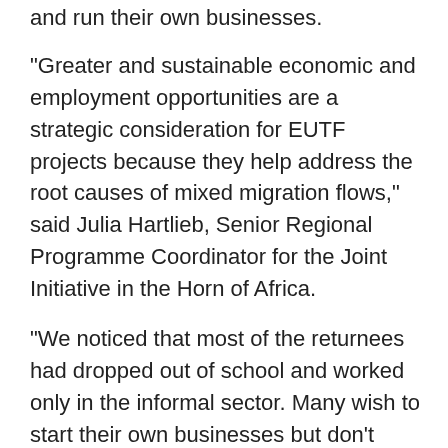and run their own businesses.
“Greater and sustainable economic and employment opportunities are a strategic consideration for EUTF projects because they help address the root causes of mixed migration flows,” said Julia Hartlieb, Senior Regional Programme Coordinator for the Joint Initiative in the Horn of Africa.
“We noticed that most of the returnees had dropped out of school and worked only in the informal sector. Many wish to start their own businesses but don’t know how to. We provide entrepreneurship training for those who choose to return to their countries of origin to help them build sustainable businesses and futures,” she continued.
Once safely settled either in their communities of origin or host communities, returnees like Maru undergo a six-day entrepreneurship course that starts with